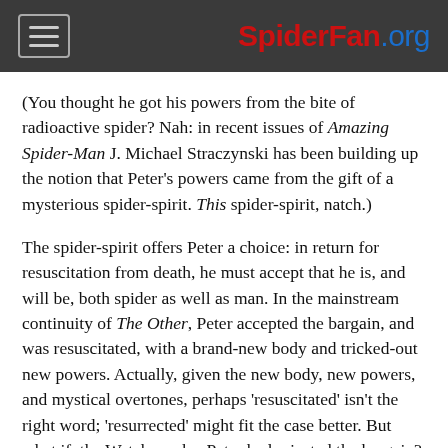SpiderFan.org
(You thought he got his powers from the bite of radioactive spider? Nah: in recent issues of Amazing Spider-Man J. Michael Straczynski has been building up the notion that Peter's powers came from the gift of a mysterious spider-spirit. This spider-spirit, natch.)
The spider-spirit offers Peter a choice: in return for resuscitation from death, he must accept that he is, and will be, both spider as well as man. In the mainstream continuity of The Other, Peter accepted the bargain, and was resuscitated, with a brand-new body and tricked-out new powers. Actually, given the new body, new powers, and mystical overtones, perhaps 'resuscitated' isn't the right word; 'resurrected' might fit the case better. But what if, the Watcher asks, Peter had rejected the bargain? The Watcher shows us a world where that happened, and what